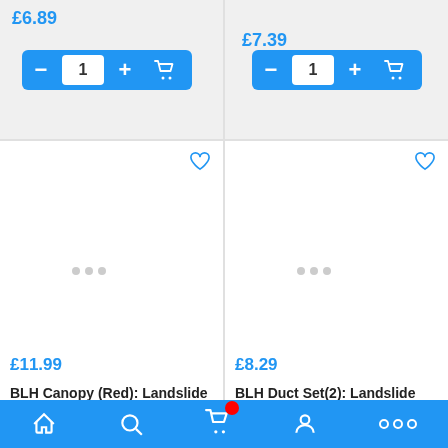£6.89
[Figure (screenshot): Add to cart button with minus, quantity 1, plus, and cart icon on blue background]
£7.39
[Figure (screenshot): Add to cart button with minus, quantity 1, plus, and cart icon on blue background]
[Figure (photo): Product card for BLH Canopy (Red): Landslide with heart icon and loading dots placeholder]
BLH Canopy (Red): Landslide
BLH
£11.99
[Figure (photo): Product card for BLH Duct Set(2): Landslide with heart icon and loading dots placeholder]
BLH Duct Set(2): Landslide
BLH
£8.29
[Figure (screenshot): Bottom navigation bar with home, search, cart (with red badge), account, and more icons]